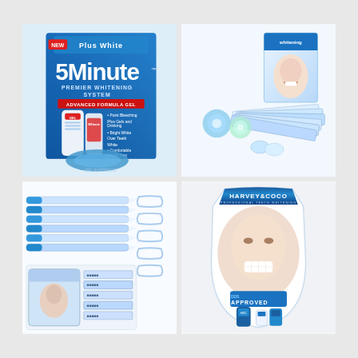[Figure (photo): Plus White 5 Minute Premier Whitening System product box with gel tube and mouth tray accessories on blue background]
[Figure (photo): Teeth whitening kit with box, whitening strips packets, and small round applicators on white background]
[Figure (photo): Teeth whitening accessories: gel pens/syringes and multiple mouth trays on white background, with a small inset showing teeth whitening strips and a bag]
[Figure (photo): Harvey & Coco dental teeth whitening system packaged in a rounded clear blister pack showing a smiling woman, with 'APPROVED' text and product bottles]